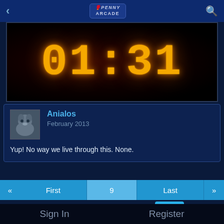[Figure (screenshot): Penny Arcade mobile app header with back arrow, Penny Arcade logo, and search icon]
[Figure (photo): Digital clock display showing 01:31 in large amber/yellow LED-style digits on a dark red/black background]
Anialos
February 2013
Yup! No way we live through this. None.
« First 9 Last »
Search discussion
Go
Sign In or Register to comment.
Sign In   Register